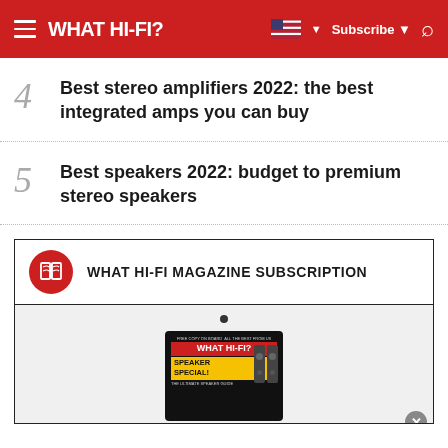WHAT HI-FI?
4 Best stereo amplifiers 2022: the best integrated amps you can buy
5 Best speakers 2022: budget to premium stereo speakers
WHAT HI-FI MAGAZINE SUBSCRIPTION
[Figure (illustration): What Hi-Fi? magazine cover showing 'SPEAKER SPECIAL!' issue with tablet device display]